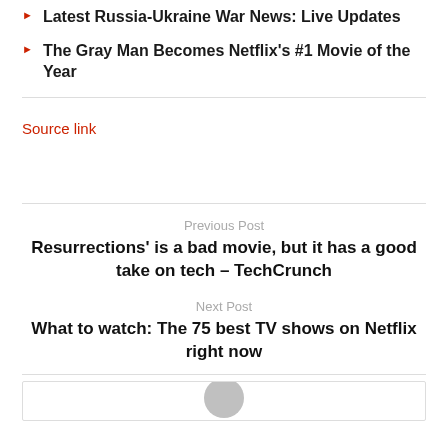Latest Russia-Ukraine War News: Live Updates
The Gray Man Becomes Netflix's #1 Movie of the Year
Source link
Previous Post
Resurrections' is a bad movie, but it has a good take on tech – TechCrunch
Next Post
What to watch: The 75 best TV shows on Netflix right now